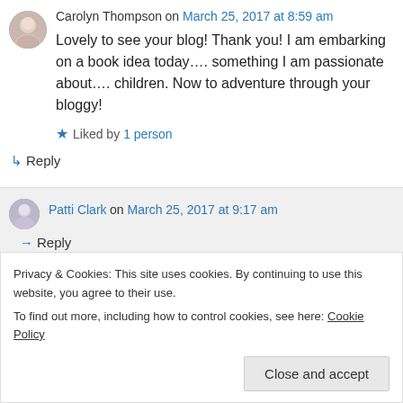Carolyn Thompson on March 25, 2017 at 8:59 am
Lovely to see your blog! Thank you! I am embarking on a book idea today…. something I am passionate about…. children. Now to adventure through your bloggy!
Liked by 1 person
↳ Reply
Patti Clark on March 25, 2017 at 9:17 am
↳ Reply
Privacy & Cookies: This site uses cookies. By continuing to use this website, you agree to their use.
To find out more, including how to control cookies, see here: Cookie Policy
Close and accept